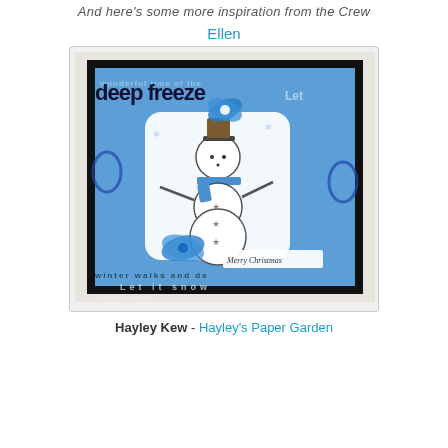And here's some more inspiration from the Crew
Ellen
[Figure (photo): A handmade Christmas card featuring a snowman wearing a blue scarf and hat on a blue patterned background with text including 'deep freeze', 'Let it snow', 'winter walks'. The card has a black border, a white decorative panel with the snowman illustration, a blue ribbon bow, and a 'Merry Christmas' banner. Blue butterfly/flower embellishment at top.]
Hayley Kew - Hayley's Paper Garden